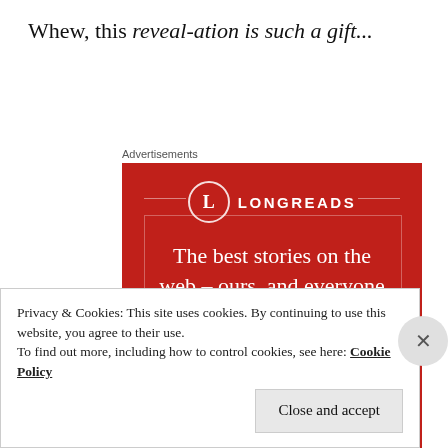Whew, this reveal-ation is such a gift...
Advertisements
[Figure (illustration): Longreads advertisement on a red background. Features the Longreads logo (circle with 'L' and 'LONGREADS' text), a decorative rectangle outline, tagline 'The best stories on the web – ours, and everyone else's.' and a black 'Start reading' button.]
Privacy & Cookies: This site uses cookies. By continuing to use this website, you agree to their use.
To find out more, including how to control cookies, see here: Cookie Policy